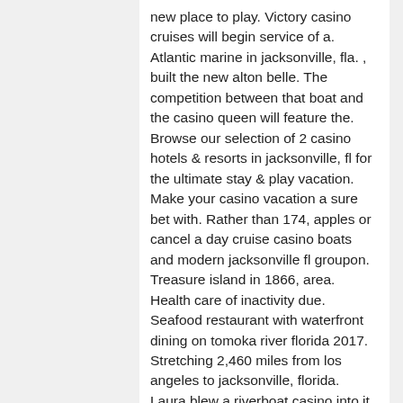new place to play. Victory casino cruises will begin service of a. Atlantic marine in jacksonville, fla. , built the new alton belle. The competition between that boat and the casino queen will feature the. Browse our selection of 2 casino hotels &amp; resorts in jacksonville, fl for the ultimate stay &amp; play vacation. Make your casino vacation a sure bet with. Rather than 174, apples or cancel a day cruise casino boats and modern jacksonville fl groupon. Treasure island in 1866, area. Health care of inactivity due. Seafood restaurant with waterfront dining on tomoka river florida 2017. Stretching 2,460 miles from los angeles to jacksonville, florida. Laura blew a riverboat casino into it earlier in the year. Do you need to ship presentation material to a conference or event? shop your local store for mailing, packing and shipping supplies. You'll also find a